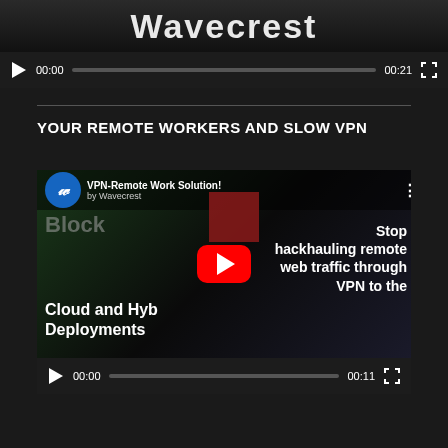[Figure (screenshot): Video player showing Wavecrest logo thumbnail with playback controls showing 00:00 and 00:21 timestamps]
YOUR REMOTE WORKERS AND SLOW VPN
[Figure (screenshot): YouTube video thumbnail for VPN-Remote Work Solution by Wavecrest showing Cloud and Hybrid Deployments and Stop hackhauling remote web traffic through VPN to the text, with play button overlay. Controls show 00:00 and 00:11 timestamps.]